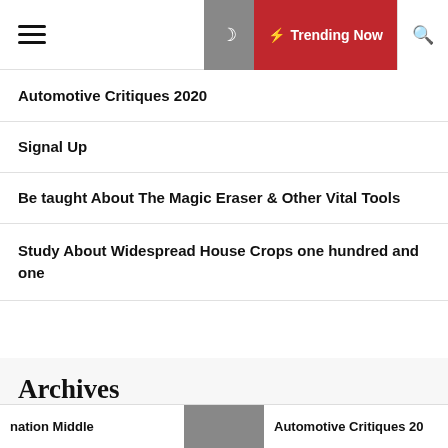Trending Now
Automotive Critiques 2020
Signal Up
Be taught About The Magic Eraser & Other Vital Tools
Study About Widespread House Crops one hundred and one
Archives
May 2022
nation Middle   Automotive Critiques 20